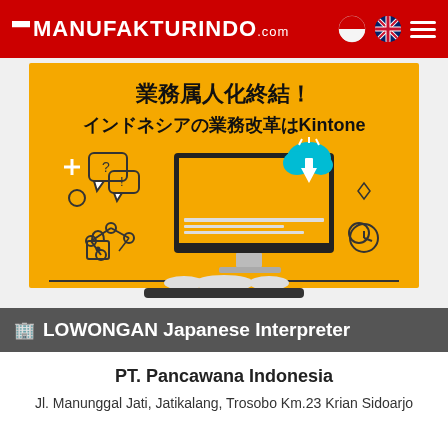MANUFAKTURINDO.com
[Figure (illustration): Yellow advertisement banner for Kintone software showing Japanese text '業務属人化終結！インドネシアの業務改革はKintone' with a desktop computer graphic, cloud download icon, and various business process icons on yellow background.]
🏢 LOWONGAN Japanese Interpreter
PT. Pancawana Indonesia
Jl. Manunggal Jati, Jatikalang, Trosobo Km.23 Krian Sidoarjo